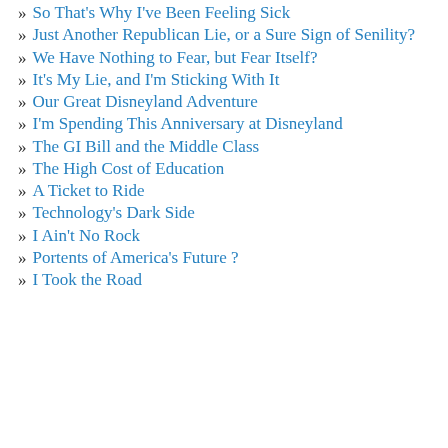So That's Why I've Been Feeling Sick
Just Another Republican Lie, or a Sure Sign of Senility?
We Have Nothing to Fear, but Fear Itself?
It's My Lie, and I'm Sticking With It
Our Great Disneyland Adventure
I'm Spending This Anniversary at Disneyland
The GI Bill and the Middle Class
The High Cost of Education
A Ticket to Ride
Technology's Dark Side
I Ain't No Rock
Portents of America's Future ?
I Took the Road